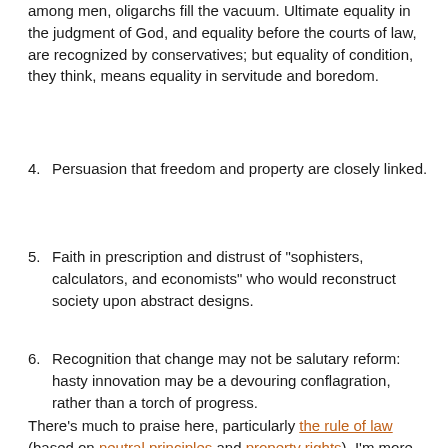among men, oligarchs fill the vacuum. Ultimate equality in the judgment of God, and equality before the courts of law, are recognized by conservatives; but equality of condition, they think, means equality in servitude and boredom.
4. Persuasion that freedom and property are closely linked.
5. Faith in prescription and distrust of "sophisters, calculators, and economists" who would reconstruct society upon abstract designs.
6. Recognition that change may not be salutary reform: hasty innovation may be a devouring conflagration, rather than a torch of progress.
There's much to praise here, particularly the rule of law (based on neutral principles and property rights). I'm more